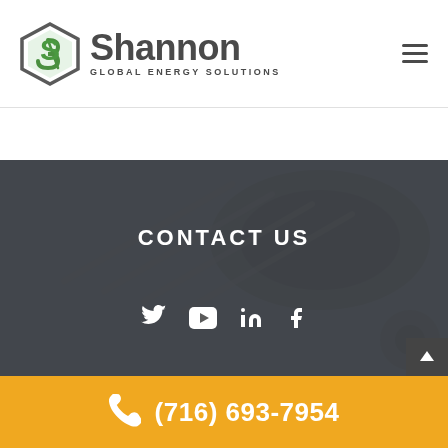[Figure (logo): Shannon Global Energy Solutions logo with green hexagon icon and dark gray text]
CONTACT US
[Figure (infographic): Social media icons: Twitter, YouTube, LinkedIn, Facebook on dark background]
(716) 693-7954